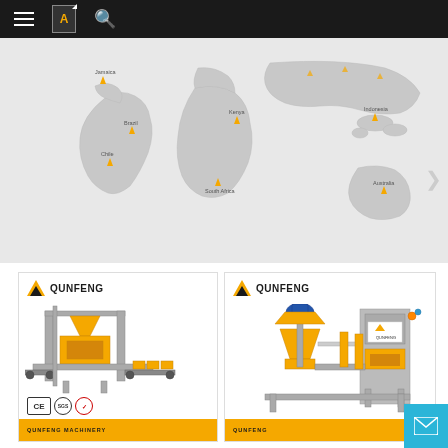Navigation bar with hamburger menu, language icon, and search icon
[Figure (map): World map showing Qunfeng Machinery distribution locations including Jamaica, Brazil, Chile, Kenya, South Africa, Indonesia, Australia, with yellow markers and a right-arrow navigation element]
[Figure (photo): Qunfeng brand block-making machine product card with CE, SGS, and quality certification icons, orange/yellow machine on white background, QUNFENG MACHINERY footer label]
[Figure (photo): Qunfeng brand mixing/concrete machine product card with orange and blue components, Qunfeng logo, QUNFENG footer label]